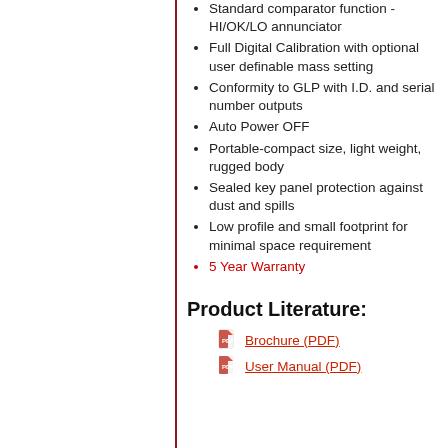Standard comparator function - HI/OK/LO annunciator
Full Digital Calibration with optional user definable mass setting
Conformity to GLP with I.D. and serial number outputs
Auto Power OFF
Portable-compact size, light weight, rugged body
Sealed key panel protection against dust and spills
Low profile and small footprint for minimal space requirement
5 Year Warranty
Product Literature:
Brochure (PDF)
User Manual (PDF)